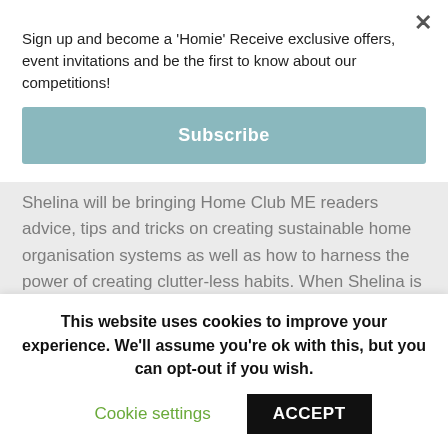Sign up and become a 'Homie' Receive exclusive offers, event invitations and be the first to know about our competitions!
Subscribe
Shelina will be bringing Home Club ME readers advice, tips and tricks on creating sustainable home organisation systems as well as how to harness the power of creating clutter-less habits. When Shelina is not organizing others people's homes and workspaces, she loves to network, cook and read a
This website uses cookies to improve your experience. We'll assume you're ok with this, but you can opt-out if you wish.
Cookie settings
ACCEPT